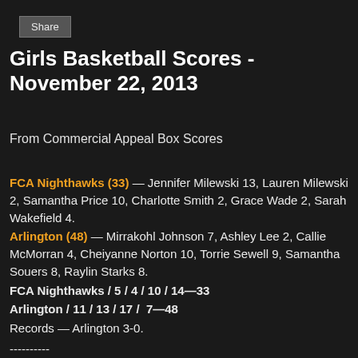Share
Girls Basketball Scores - November 22, 2013
From Commercial Appeal Box Scores
FCA Nighthawks (33) — Jennifer Milewski 13, Lauren Milewski 2, Samantha Price 10, Charlotte Smith 2, Grace Wade 2, Sarah Wakefield 4. Arlington (48) — Mirrakohl Johnson 7, Ashley Lee 2, Callie McMorran 4, Cheiyanne Norton 10, Torrie Sewell 9, Samantha Souers 8, Raylin Starks 8. FCA Nighthawks / 5 / 4 / 10 / 14—33 Arlington / 11 / 13 / 17 / 7—48 Records — Arlington 3-0.
Central Baptist (38) — Erin Gay 24, Emily Russell 4, Megan Reese 4, Annie Bell 4, Grace Harvey 2.